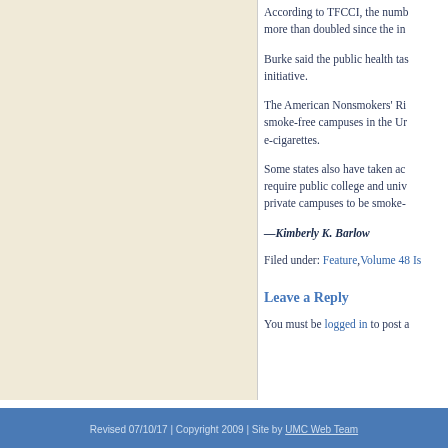According to TFCCI, the number of smoke-free campuses has more than doubled since the initiative.
Burke said the public health task force praised the initiative.
The American Nonsmokers' Rights Foundation lists 1,439 smoke-free campuses in the United States, some including e-cigarettes.
Some states also have taken action on this issue. Some require public college and university campuses and even private campuses to be smoke-free.
—Kimberly K. Barlow
Filed under: Feature,Volume 48 Is...
Leave a Reply
You must be logged in to post a...
Revised 07/10/17 | Copyright 2009 | Site by UMC Web Team